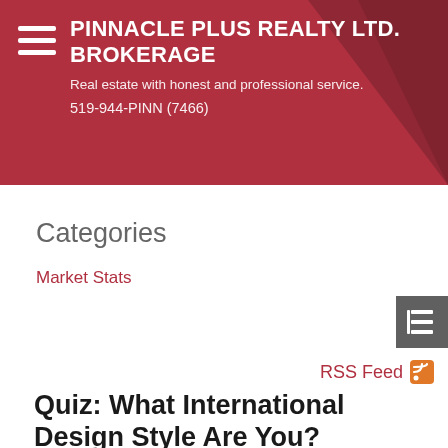PINNACLE PLUS REALTY LTD. BROKERAGE
Real estate with honest and professional service.
519-944-PINN (7466)
Categories
Market Stats
RSS Feed
Quiz: What International Design Style Are You?
Posted on September 29, 2016 by PINNACLE PLUS REALTY LTD.